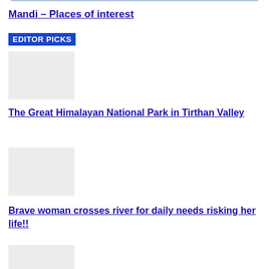Mandi – Places of interest
EDITOR PICKS
[Figure (photo): Thumbnail image placeholder 1]
The Great Himalayan National Park in Tirthan Valley
[Figure (photo): Thumbnail image placeholder 2]
Brave woman crosses river for daily needs risking her life!!
[Figure (photo): Thumbnail image placeholder 3]